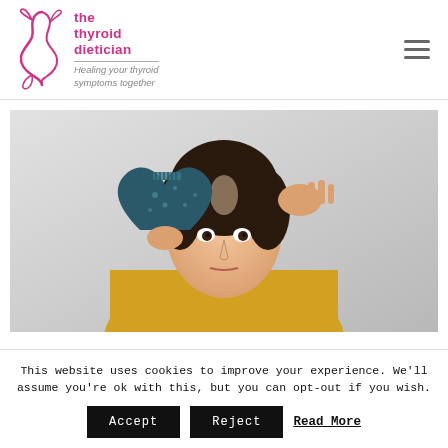the thyroid dietician — Healing your thyroid symptoms together
[Figure (photo): Woman in yellow top examining hair loss in a decorative hand mirror, concerned expression, checking thinning hair at crown]
This website uses cookies to improve your experience. We'll assume you're ok with this, but you can opt-out if you wish.
Accept  Reject  Read More